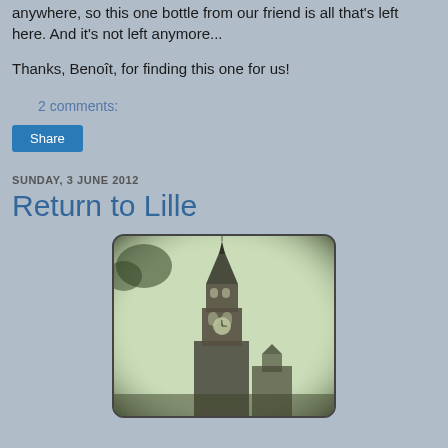anywhere, so this one bottle from our friend is all that's left here. And it's not left anymore...
Thanks, Benoît, for finding this one for us!
2 comments:
Share
SUNDAY, 3 JUNE 2012
Return to Lille
[Figure (photo): Vintage-style photograph of a tall ornate clock tower (likely Lille city hall belfry) against a pale sky, with trees and lower buildings visible. The image has a sepia/green toned vintage look with rounded corners.]